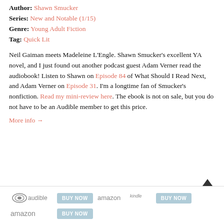Author: Shawn Smucker
Series: New and Notable (1/15)
Genre: Young Adult Fiction
Tag: Quick Lit
Neil Gaiman meets Madeleine L'Engle. Shawn Smucker's excellent YA novel, and I just found out another podcast guest Adam Verner read the audiobook! Listen to Shawn on Episode 84 of What Should I Read Next, and Adam Verner on Episode 31. I'm a longtime fan of Smucker's nonfiction. Read my mini-review here. The ebook is not on sale, but you do not have to be an Audible member to get this price.
More info →
[Figure (other): Purchase buttons section with Audible logo and BUY NOW button, Amazon Kindle logo and BUY NOW button, Amazon logo and BUY NOW button]